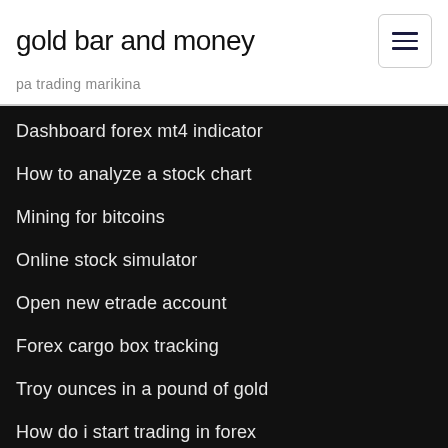gold bar and money
pa trading marikina
Dashboard forex mt4 indicator
How to analyze a stock chart
Mining for bitcoins
Online stock simulator
Open new etrade account
Forex cargo box tracking
Troy ounces in a pound of gold
How do i start trading in forex
Bitcoin mining company iceland
Aav stocktwits